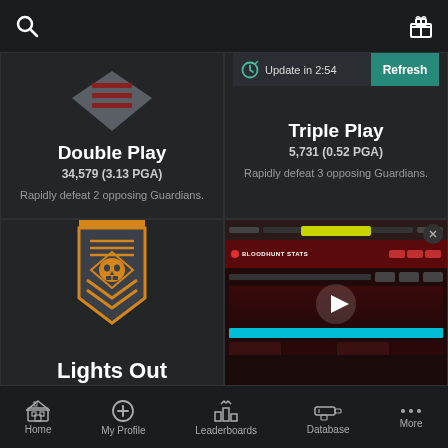[Figure (screenshot): Mobile app top bar with search icon and gift icon]
[Figure (illustration): Diamond/chevron shaped grey badge icon for Double Play medal]
Double Play
34,579 (3.13 PGA)
Rapidly defeat 2 opposing Guardians.
[Figure (screenshot): Update timer bar showing 'Update in 2:54' and 'Refresh' button in teal]
Triple Play
5,731 (0.52 PGA)
Rapidly defeat 3 opposing Guardians.
[Figure (illustration): Orange and grey shield/banner badge with skull icon for Lights Out medal]
Lights Out
[Figure (screenshot): Bloodhunt stats website screenshot with play button overlay]
Home  My Profile  Leaderboards  Database  More